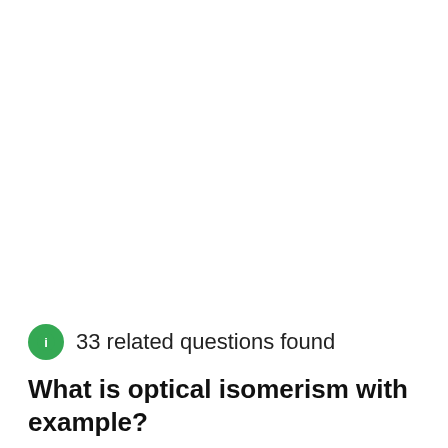33 related questions found
What is optical isomerism with example?